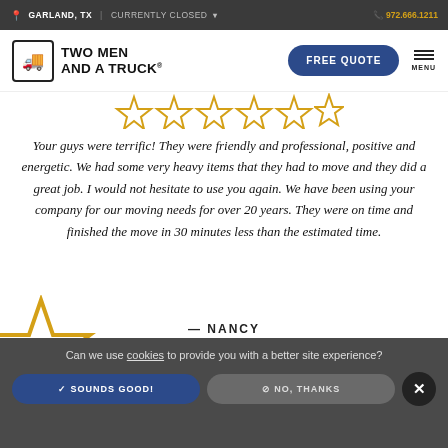GARLAND, TX | CURRENTLY CLOSED | 972.666.1211
[Figure (logo): Two Men and a Truck logo with truck icon and FREE QUOTE button and MENU]
[Figure (illustration): Gold/yellow star rating icons row]
Your guys were terrific! They were friendly and professional, positive and energetic. We had some very heavy items that they had to move and they did a great job. I would not hesitate to use you again. We have been using your company for our moving needs for over 20 years. They were on time and finished the move in 30 minutes less than the estimated time.
— NANCY
READ MORE REVIEWS →
Can we use cookies to provide you with a better site experience?
✓ SOUNDS GOOD!
⊘ NO, THANKS